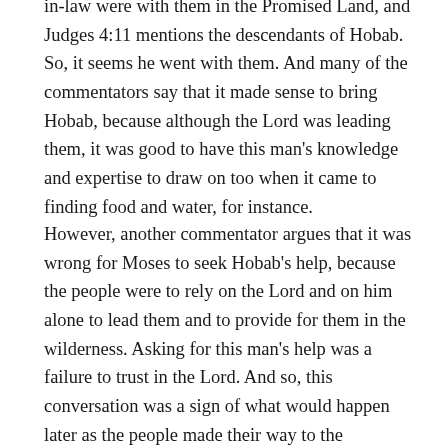in-law were with them in the Promised Land, and Judges 4:11 mentions the descendants of Hobab. So, it seems he went with them. And many of the commentators say that it made sense to bring Hobab, because although the Lord was leading them, it was good to have this man's knowledge and expertise to draw on too when it came to finding food and water, for instance.
However, another commentator argues that it was wrong for Moses to seek Hobab's help, because the people were to rely on the Lord and on him alone to lead them and to provide for them in the wilderness. Asking for this man's help was a failure to trust in the Lord. And so, this conversation was a sign of what would happen later as the people made their way to the